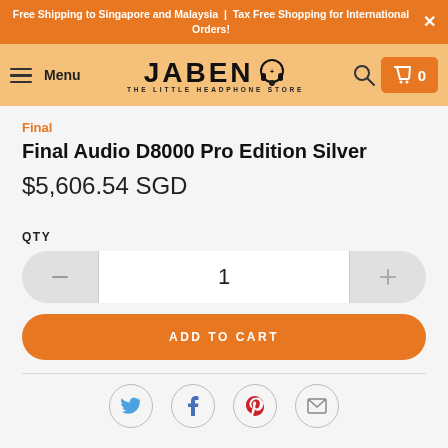Free Shipping to Singapore and Malaysia | Tax Free Shopping for International Orders!
[Figure (logo): Jaben - The Little Headphone Store logo with hamburger menu and cart icon]
Final
Final Audio D8000 Pro Edition Silver
$5,606.54 SGD
QTY
1
ADD TO CART